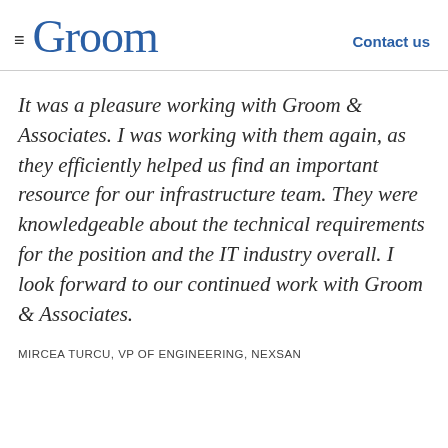≡ Groom   Contact us
It was a pleasure working with Groom & Associates. I was working with them again, as they efficiently helped us find an important resource for our infrastructure team. They were knowledgeable about the technical requirements for the position and the IT industry overall. I look forward to our continued work with Groom & Associates.
MIRCEA TURCU, VP OF ENGINEERING, NEXSAN